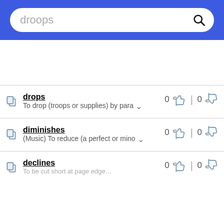[Figure (screenshot): Search bar with text 'droops' and a magnifying glass icon on a blue background header]
drops — To drop (troops or supplies) by para… — 0 thumbs up | 0 thumbs down
diminishes — (Music) To reduce (a perfect or mino… — 0 thumbs up | 0 thumbs down
declines — [definition truncated] — 0 thumbs up | 0 thumbs down